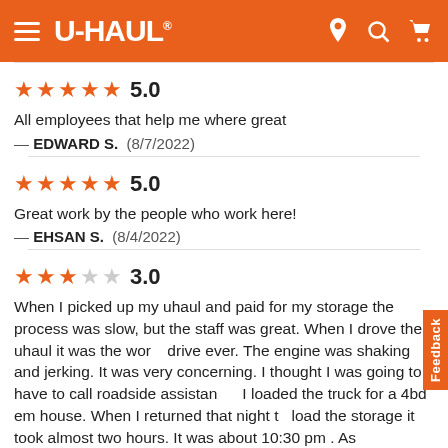U-HAUL
★★★★★ 5.0
All employees that help me where great
— EDWARD S. (8/7/2022)
★★★★★ 5.0
Great work by the people who work here!
— EHSAN S. (8/4/2022)
★★★☆☆ 3.0
When I picked up my uhaul and paid for my storage the process was slow, but the staff was great. When I drove the uhaul it was the worst drive ever. The engine was shaking and jerking. It was very concerning. I thought I was going to have to call roadside assistance. I loaded the truck for a 4bd em house. When I returned that night to load the storage it took almost two hours. It was about 10:30 pm . As